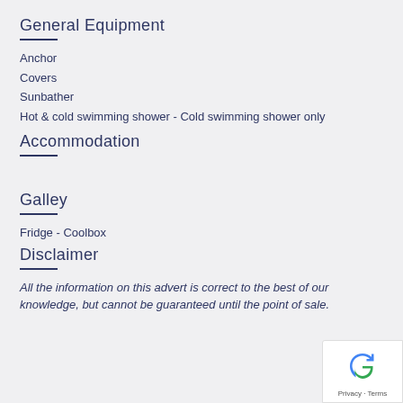General Equipment
Anchor
Covers
Sunbather
Hot & cold swimming shower - Cold swimming shower only
Accommodation
Galley
Fridge - Coolbox
Disclaimer
All the information on this advert is correct to the best of our knowledge, but cannot be guaranteed until the point of sale.